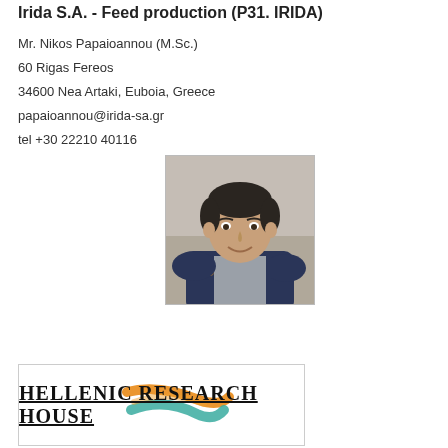Irida S.A. - Feed production (P31. IRIDA)
Mr. Nikos Papaioannou (M.Sc.)
60 Rigas Fereos
34600 Nea Artaki, Euboia, Greece
papaioannou@irida-sa.gr
tel +30 22210 40116
[Figure (photo): Portrait photo of Mr. Nikos Papaioannou, a young man with dark short hair, smiling, wearing a dark navy hoodie, photographed against a neutral gray background.]
[Figure (logo): Hellenic Research House logo: text in small-caps serif font with underline, accompanied by a colorful brush stroke graphic in orange and teal/green colors.]